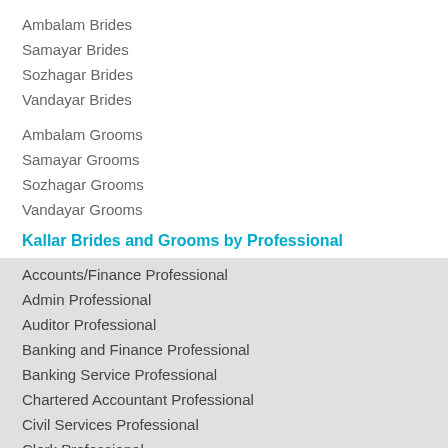Ambalam Brides
Samayar Brides
Sozhagar Brides
Vandayar Brides
Ambalam Grooms
Samayar Grooms
Sozhagar Grooms
Vandayar Grooms
Kallar Brides and Grooms by Professional
Accounts/Finance Professional
Admin Professional
Auditor Professional
Banking and Finance Professional
Banking Service Professional
Chartered Accountant Professional
Civil Services Professional
Clerk Professional
Doctor Professional